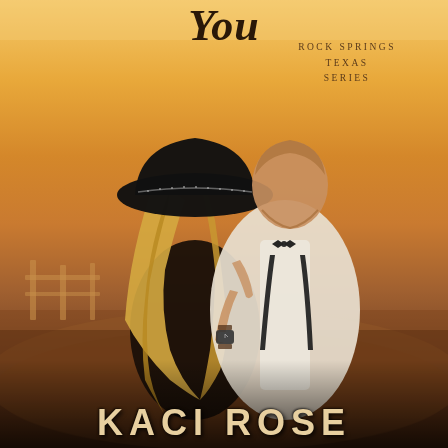[Figure (illustration): Book cover image showing a couple about to kiss outdoors at golden hour sunset. The woman has long blonde hair and wears a black wide-brimmed hat with decorative trim and a dark quilted jacket. The man wears a white dress shirt, black bow tie, suspenders, and a dark wristwatch. They are embracing in a field with a wooden fence visible in the warm amber background. Text overlays show a partial title at the top (partially cut off), series name 'ROCK SPRINGS TEXAS SERIES' in the upper right, and author name 'KACI ROSE' at the bottom.]